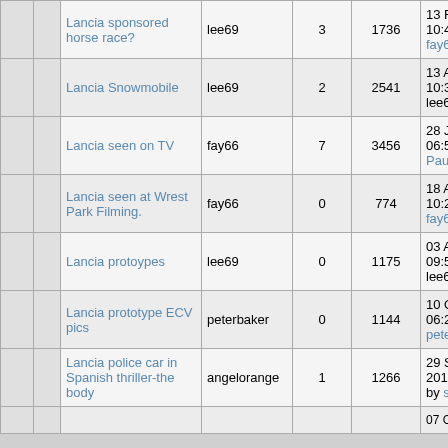|  |  | Topic | Author | Replies | Views | Last Post |
| --- | --- | --- | --- | --- | --- | --- |
|  |  | Lancia sponsored horse race? | lee69 | 3 | 1736 | 13 February, 2010, 10:46:44 AM by fay66 |
|  |  | Lancia Snowmobile | lee69 | 2 | 2541 | 13 April, 2007, 10:30:21 PM by lee69 |
|  |  | Lancia seen on TV | fay66 | 7 | 3456 | 28 June, 2017, 06:59:01 PM by Paul Greenway |
|  |  | Lancia seen at Wrest Park Filming. | fay66 | 0 | 774 | 18 August, 2020, 10:27:45 AM by fay66 |
|  |  | Lancia protoypes | lee69 | 0 | 1175 | 03 August, 2010, 09:57:38 PM by lee69 |
|  |  | Lancia prototype ECV pics | peterbaker | 0 | 1144 | 10 October, 2010, 06:25:58 AM by peterbaker |
|  |  | Lancia police car in Spanish thriller-the body | angelorange | 1 | 1266 | 29 September, 2014, 09:04:33 AM by stanley sweet |